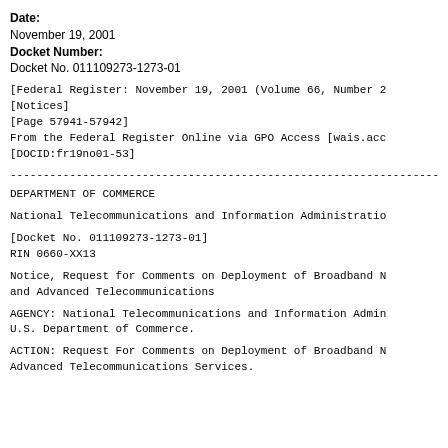Date:
November 19, 2001
Docket Number:
Docket No. 011109273-1273-01
[Federal Register: November 19, 2001 (Volume 66, Number 2
[Notices]
[Page 57941-57942]
From the Federal Register Online via GPO Access [wais.acc
[DOCID:fr19no01-53]
------------------------------------------------------------------------
DEPARTMENT OF COMMERCE
National Telecommunications and Information Administration
[Docket No. 011109273-1273-01]
RIN 0660-XX13
Notice, Request for Comments on Deployment of Broadband N
and Advanced Telecommunications
AGENCY: National Telecommunications and Information Admin
U.S. Department of Commerce.
ACTION: Request For Comments on Deployment of Broadband N
Advanced Telecommunications Services.